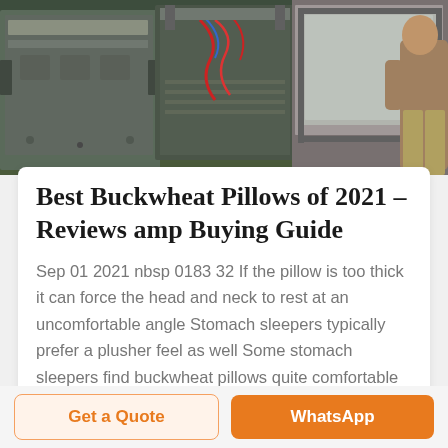[Figure (photo): Industrial machine / packaging equipment in a factory setting, showing metallic machinery with green surroundings and a worker visible on the right side]
Best Buckwheat Pillows of 2021 – Reviews amp Buying Guide
Sep 01 2021 nbsp 0183 32 If the pillow is too thick it can force the head and neck to rest at an uncomfortable angle Stomach sleepers typically prefer a plusher feel as well Some stomach sleepers find buckwheat pillows quite comfortable but they are in the minority Light Sleepers The pillow will produce a soft rustling sound as the hulls contour to the head and
Get a Quote
WhatsApp